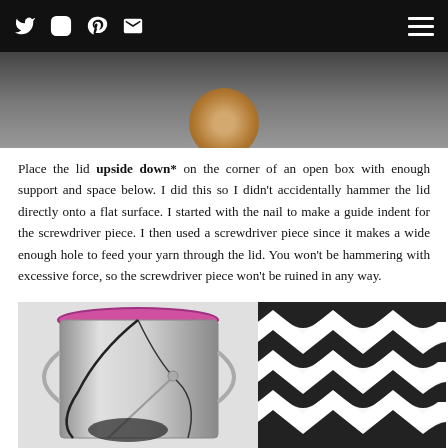Social media icons (Twitter, Instagram, Pinterest, Email) and hamburger menu
[Figure (photo): Top portion of a photo showing a dark circular object with a wooden handle or stick, on a light background]
Place the lid upside down* on the corner of an open box with enough support and space below. I did this so I didn't accidentally hammer the lid directly onto a flat surface. I started with the nail to make a guide indent for the screwdriver piece. I then used a screwdriver piece since it makes a wide enough hole to feed your yarn through the lid. You won't be hammering with excessive force, so the screwdriver piece won't be ruined in any way.
[Figure (photo): A clear paint can with a pink lid containing black yarn threaded through a hole, with a needle or hook inserted, next to a black and white crocheted ripple/chevron pattern piece]